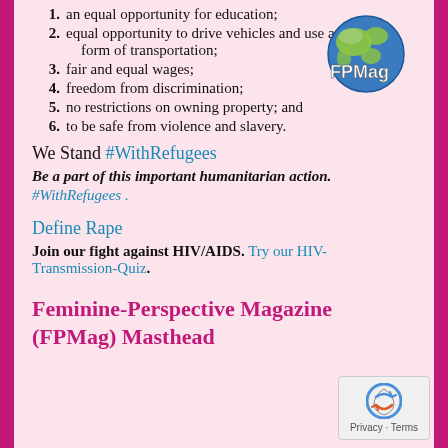1. an equal opportunity for education;
2. equal opportunity to drive vehicles and use any form of transportation;
3. fair and equal wages;
4. freedom from discrimination;
5. no restrictions on owning property; and
6. to be safe from violence and slavery.
We Stand #WithRefugees
Be a part of this important humanitarian action.
#WithRefugees .
Define Rape
Join our fight against HIV/AIDS. Try our HIV-Transmission-Quiz.
Feminine-Perspective Magazine (FPMag) Masthead
[Figure (logo): FPMag globe logo with text FPMag overlaid on globe]